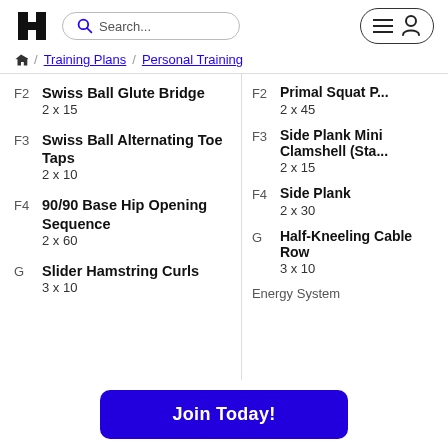HT logo | Search... | menu/profile button
Home / Training Plans / Personal Training
F2 Swiss Ball Glute Bridge 2 x 15
F3 Swiss Ball Alternating Toe Taps 2 x 10
F4 90/90 Base Hip Opening Sequence 2 x 60
G Slider Hamstring Curls 3 x 10
F2 Primal Squat P... 2 x 45
F3 Side Plank Mini Clamshell (Sta... 2 x 15
F4 Side Plank 2 x 30
G Half-Kneeling Cable Row 3 x 10
Energy System
Join Today!